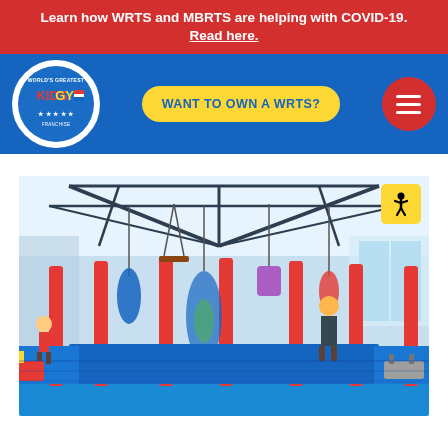Learn how WRTS and MBRTS are helping with COVID-19. Read here.
[Figure (logo): World's Greatest Kids Gym logo in white circle on blue background]
WANT TO OWN A WRTS?
[Figure (other): Red circle hamburger menu button with three white horizontal bars]
[Figure (photo): Interior of a colorful kids gym with red padded poles, hanging swings, blue mats, metal frame ceiling structure, and children and adults visible inside]